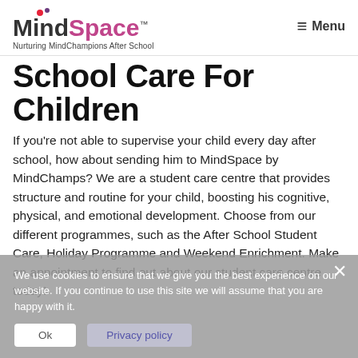[Figure (logo): MindSpace by MindChamps logo with two dots (red and purple) above the text, 'Mind' in dark grey bold, 'Space' in magenta/purple bold, TM superscript. Tagline: Nurturing MindChampions After School]
≡ Menu
School Care For Children
If you're not able to supervise your child every day after school, how about sending him to MindSpace by MindChamps? We are a student care centre that provides structure and routine for your child, boosting his cognitive, physical, and emotional development. Choose from our different programmes, such as the After School Student Care, Holiday Programme and Weekend Enrichment. Make an appointment to find out about our student care centre today!
We use cookies to ensure that we give you the best experience on our website. If you continue to use this site we will assume that you are happy with it.